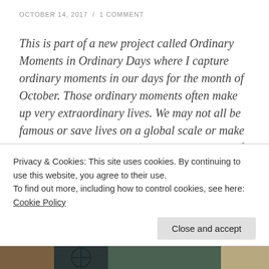OCTOBER 14, 2017  /  1 COMMENT
This is part of a new project called Ordinary Moments in Ordinary Days where I capture ordinary moments in our days for the month of October. Those ordinary moments often make up very extraordinary lives. We may not all be famous or save lives on a global scale or make a national or international impact, but each of us have the opportunity to touch others, show them light, and speak life. Each of us have moments, the small moments, the little details of our day, that mean
Privacy & Cookies: This site uses cookies. By continuing to use this website, you agree to their use.
To find out more, including how to control cookies, see here: Cookie Policy
[Figure (photo): Photo strip at the bottom of the page showing partial images]